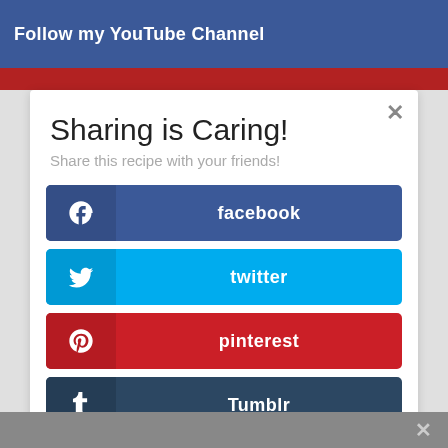Follow my YouTube Channel / Facebook
Sharing is Caring!
Share this recipe with your friends!
facebook
twitter
pinterest
Tumblr
reddit
Evernote